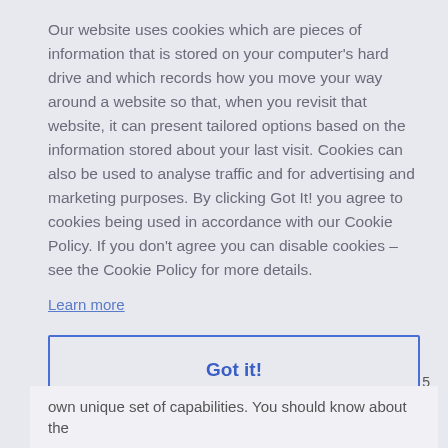Our website uses cookies which are pieces of information that is stored on your computer's hard drive and which records how you move your way around a website so that, when you revisit that website, it can present tailored options based on the information stored about your last visit. Cookies can also be used to analyse traffic and for advertising and marketing purposes. By clicking Got It! you agree to cookies being used in accordance with our Cookie Policy. If you don't agree you can disable cookies – see the Cookie Policy for more details.
Learn more
Got it!
5
own unique set of capabilities. You should know about the